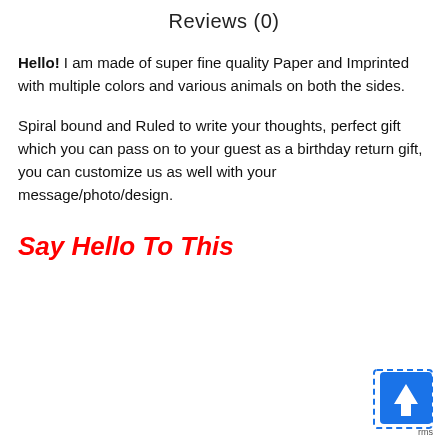Reviews (0)
Hello! I am made of super fine quality Paper and Imprinted with multiple colors and various animals on both the sides.
Spiral bound and Ruled to write your thoughts, perfect gift which you can pass on to your guest as a birthday return gift, you can customize us as well with your message/photo/design.
Say Hello To This
[Figure (screenshot): Blue scroll-to-top button with white upward arrow, shown with dashed border overlay in bottom-right corner]